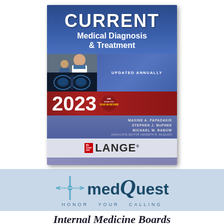[Figure (illustration): Book cover of CURRENT Medical Diagnosis & Treatment 2023, edited by Maxine A. Papadakis, Stephen J. McPhee, Michael W. Rabow, Associate Editor Kenneth R. McQuaid. Published by McGraw Hill LANGE. Features images of a doctor and lungs X-ray. Updated Annually badge with Year in Review seal.]
[Figure (logo): medQuest logo with cross/sword symbol and tagline HONOR YOUR CALLING on light blue background]
Internal Medicine Boards